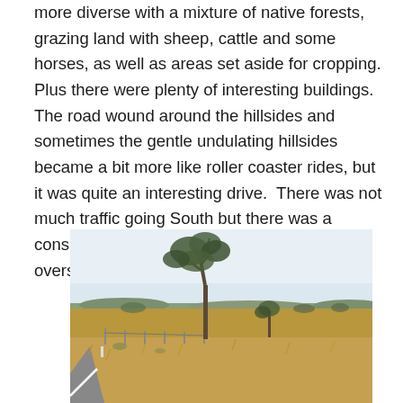more diverse with a mixture of native forests, grazing land with sheep, cattle and some horses, as well as areas set aside for cropping.  Plus there were plenty of interesting buildings.  The road wound around the hillsides and sometimes the gentle undulating hillsides became a bit more like roller coaster rides, but it was quite an interesting drive.  There was not much traffic going South but there was a considerable number of trucks, including oversize and wide loads heading North.
[Figure (photo): A rural Australian landscape photograph showing dry grassy fields with scattered eucalyptus trees under a pale blue sky, with a road visible on the left edge and rolling hills in the background.]